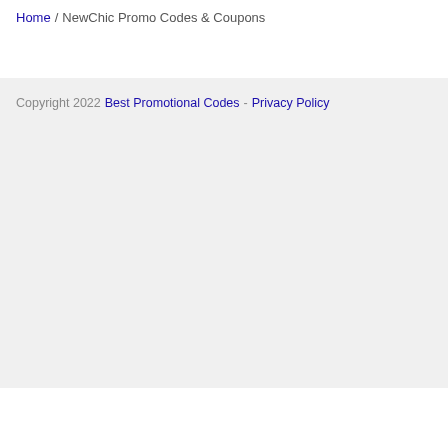Home / NewChic Promo Codes & Coupons
Copyright 2022 Best Promotional Codes - Privacy Policy